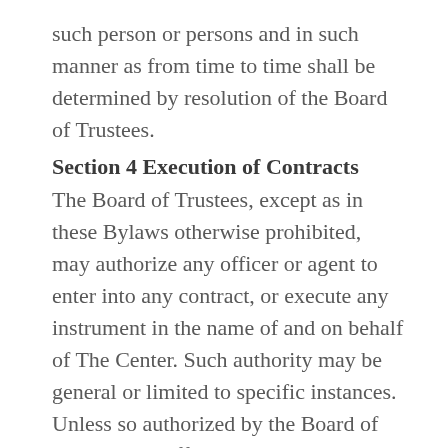such person or persons and in such manner as from time to time shall be determined by resolution of the Board of Trustees.
Section 4 Execution of Contracts
The Board of Trustees, except as in these Bylaws otherwise prohibited, may authorize any officer or agent to enter into any contract, or execute any instrument in the name of and on behalf of The Center. Such authority may be general or limited to specific instances. Unless so authorized by the Board of Trustees, no officer, agent or employee shall have any power or authority to